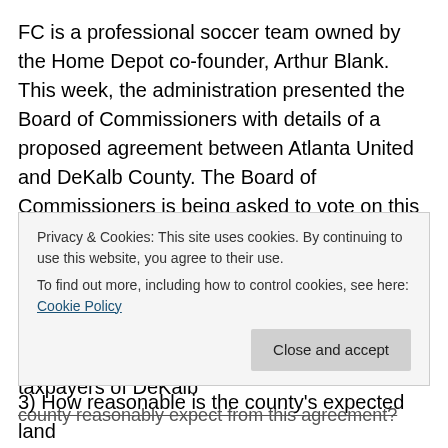FC is a professional soccer team owned by the Home Depot co-founder, Arthur Blank. This week, the administration presented the Board of Commissioners with details of a proposed agreement between Atlanta United and DeKalb County. The Board of Commissioners is being asked to vote on this agreement on Tuesday, August 4th.
I have many concerns about this matter. In no particular order, they include:
1) What return on investment can the taxpayers of DeKalb county reasonably expect from this agreement?
Privacy & Cookies: This site uses cookies. By continuing to use this website, you agree to their use. To find out more, including how to control cookies, see here: Cookie Policy
3) How reasonable is the county's expected land